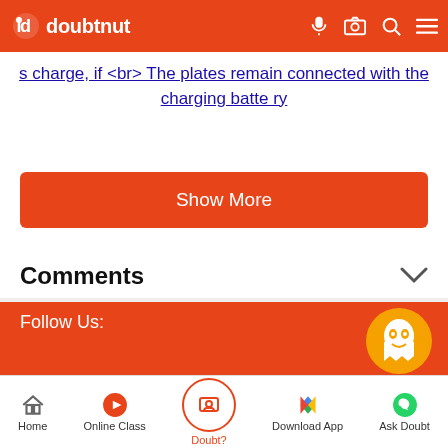doubtnut
s charge, if <br> The plates remain connected with the charging battery
Show More
Comments
Follow Us:
[Figure (logo): Snapchat ghost icon on orange background]
Popular Chapters by Class:
Home | Online Class | Doubt? | Download App | Ask Doubt